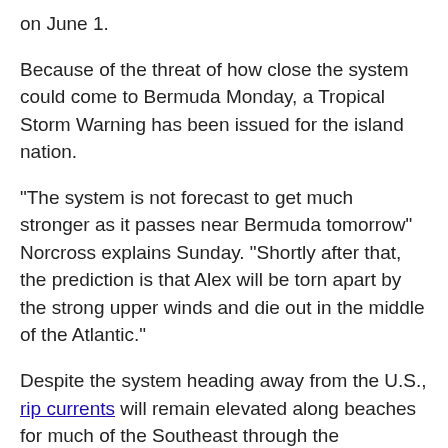on June 1.
Because of the threat of how close the system could come to Bermuda Monday, a Tropical Storm Warning has been issued for the island nation.
"The system is not forecast to get much stronger as it passes near Bermuda tomorrow" Norcross explains Sunday. "Shortly after that, the prediction is that Alex will be torn apart by the strong upper winds and die out in the middle of the Atlantic."
Despite the system heading away from the U.S., rip currents will remain elevated along beaches for much of the Southeast through the workweek.
After Alex, it appears the tropics will remain calm for the rest of the week, at least," Norcross says.